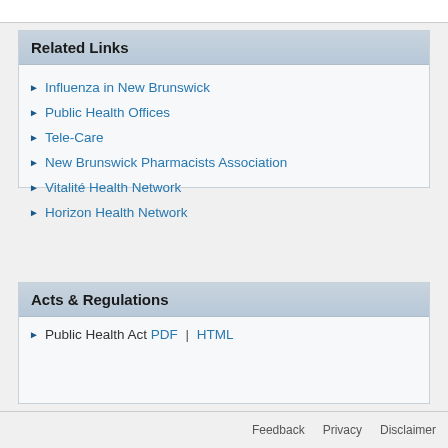Related Links
Influenza in New Brunswick
Public Health Offices
Tele-Care
New Brunswick Pharmacists Association
Vitalité Health Network
Horizon Health Network
Acts & Regulations
Public Health Act PDF | HTML
Feedback   Privacy   Disclaimer